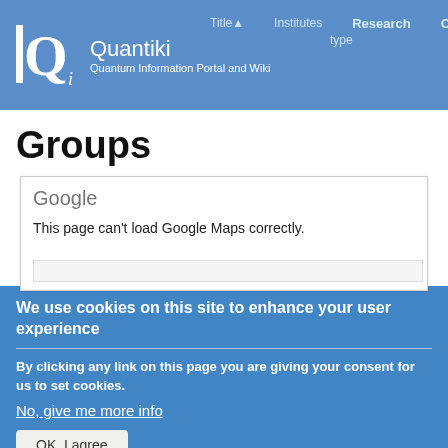Quantiki — Quantum Information Portal and Wiki
Groups
[Figure (screenshot): Google Maps embed error: 'This page can't load Google Maps correctly.' with a search bar below.]
We use cookies on this site to enhance your user experience
By clicking any link on this page you are giving your consent for us to set cookies.
No, give me more info
OK, I agree